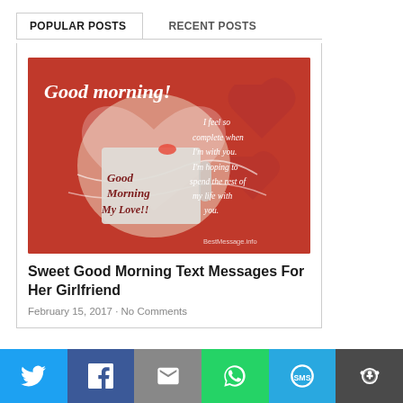POPULAR POSTS
RECENT POSTS
[Figure (illustration): Red romantic card with heart shape, a mug saying 'Good Morning My Love!!', text 'Good morning!' at top, and italic white text reading 'I feel so complete when I'm with you. I'm hoping to spend the rest of my life with you.' with BestMessage.info watermark]
Sweet Good Morning Text Messages For Her Girlfriend
February 15, 2017 · No Comments